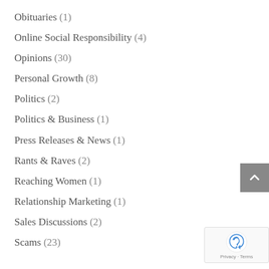Obituaries (1)
Online Social Responsibility (4)
Opinions (30)
Personal Growth (8)
Politics (2)
Politics & Business (1)
Press Releases & News (1)
Rants & Raves (2)
Reaching Women (1)
Relationship Marketing (1)
Sales Discussions (2)
Scams (23)